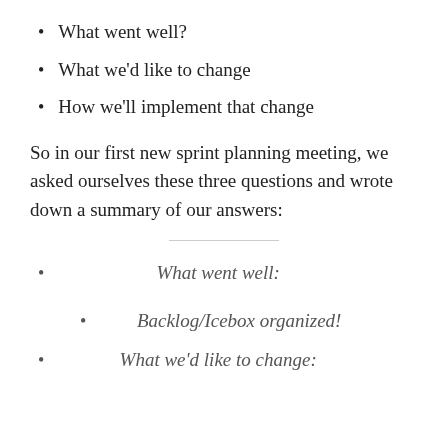What went well?
What we'd like to change
How we'll implement that change
So in our first new sprint planning meeting, we asked ourselves these three questions and wrote down a summary of our answers:
What went well:
Backlog/Icebox organized!
What we'd like to change: